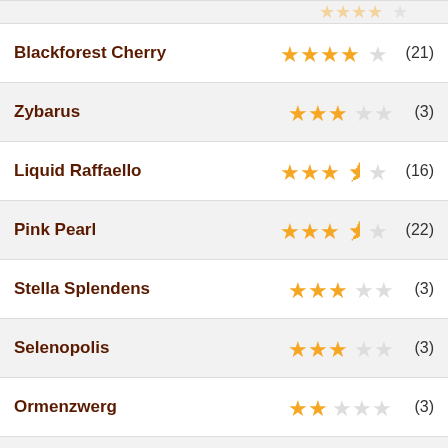Blackforest Cherry — ★★★★☆ (21)
Zybarus — ★★★☆☆ (3)
Liquid Raffaello — ★★★½☆ (16)
Pink Pearl — ★★★½☆ (22)
Stella Splendens — ★★★☆☆ (3)
Selenopolis — ★★★☆☆ (3)
Ormenzwerg — ★★☆☆☆ (3)
Ragnar Ormenwolf — ★★★☆☆ (3)
Uther — ★★★☆☆ (3)
Steven of Shillingford Abbot — ★★★☆☆ (3)